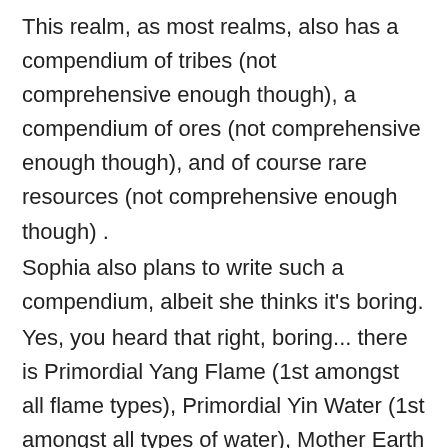This realm, as most realms, also has a compendium of tribes (not comprehensive enough though), a compendium of ores (not comprehensive enough though), and of course rare resources (not comprehensive enough though) .
Sophia also plans to write such a compendium, albeit she thinks it's boring.
Yes, you heard that right, boring... there is Primordial Yang Flame (1st amongst all flame types), Primordial Yin Water (1st amongst all types of water), Mother Earth (1st amongst all types of earth), Undying Wood Heart (1st amongst all types of wood), Pure metal Gold (1st amongst all types of metal), 9th Heaven Winds (1st amongst all types of wind, these winds are those that blow up in the sky, just before leaving the atmosphere of the planet)